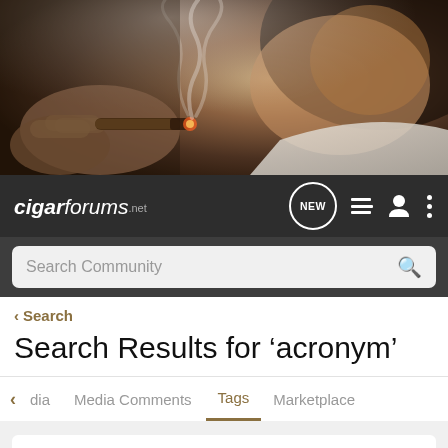[Figure (photo): Man smoking a cigar, close-up photo with smoke rising, dark moody tones]
cigarforums.net — navigation bar with NEW, list, user, and menu icons, and Search Community search bar
< Search
Search Results for ‘acronym’
dia  Media Comments  Tags  Marketplace (tab navigation)
Search Tags
✕ acronym  [Search button]